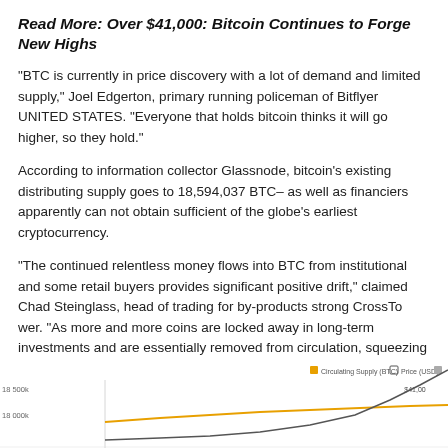Read More: Over $41,000: Bitcoin Continues to Forge New Highs
"BTC is currently in price discovery with a lot of demand and limited supply," Joel Edgerton, primary running policeman of Bitflyer UNITED STATES. "Everyone that holds bitcoin thinks it will go higher, so they hold."
According to information collector Glassnode, bitcoin's existing distributing supply goes to 18,594,037 BTC– as well as financiers apparently can not obtain sufficient of the globe's earliest cryptocurrency.
"The continued relentless money flows into BTC from institutional and some retail buyers provides significant positive drift," claimed Chad Steinglass, head of trading for by-products strong CrossTo wer. "As more and more coins are locked away in long-term investments and are essentially removed from circulation, squeezing available inventory tighter and tighter."
[Figure (line-chart): Partial view of a line chart showing Bitcoin Circulating Supply (BTC) and Price (USD) over time. The chart shows an upward trend in price. Legend shows 'Circulating Supply (BTC)' and 'Price (USD)'. Y-axis labels visible: 18 500k, 18 000k. Chart is partially cut off at the bottom of the page.]